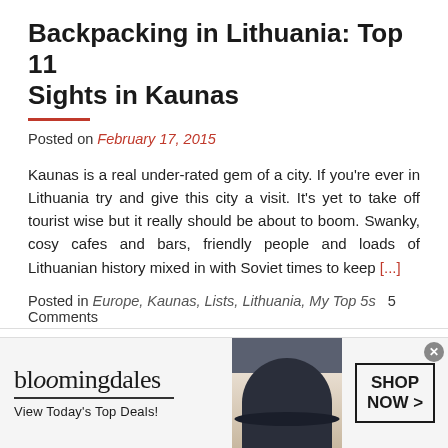Backpacking in Lithuania: Top 11 Sights in Kaunas
Posted on February 17, 2015
Kaunas is a real under-rated gem of a city. If you’re ever in Lithuania try and give this city a visit. It’s yet to take off tourist wise but it really should be about to boom. Swanky, cosy cafes and bars, friendly people and loads of Lithuanian history mixed in with Soviet times to keep [...]
Posted in Europe, Kaunas, Lists, Lithuania, My Top 5s   5 Comments
[Figure (photo): Partial photo of a building with a dark roof, beige wall, and street lamps visible against a grey sky]
[Figure (screenshot): Bloomingdale’s advertisement banner: logo, tagline 'View Today’s Top Deals!', woman in hat photo, and 'SHOP NOW >' button]